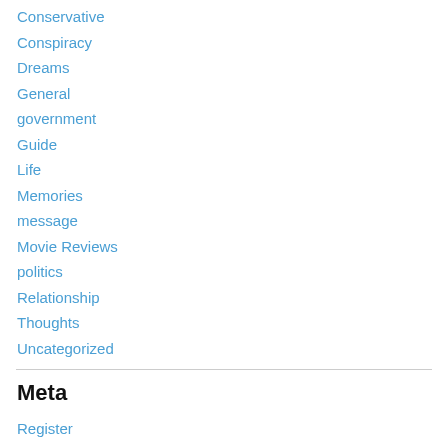Conservative
Conspiracy
Dreams
General
government
Guide
Life
Memories
message
Movie Reviews
politics
Relationship
Thoughts
Uncategorized
Meta
Register
Log in